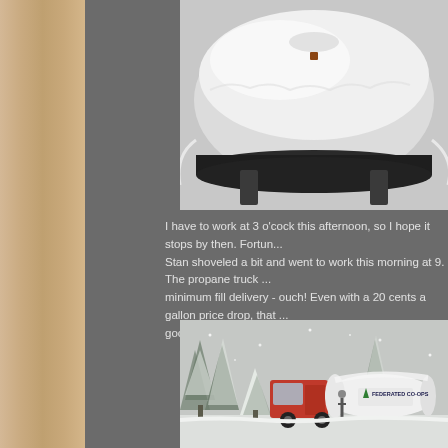[Figure (photo): Snow-covered propane tank viewed from above, heavily laden with snow, black metal ring base visible at bottom]
I have to work at 3 o'clock this afternoon, so I hope it stops by then. Fortunately Stan shoveled a bit and went to work this morning at 9. The propane truck came for a minimum fill delivery - ouch! Even with a 20 cents a gallon price drop, that ... goodness we supplement with wood.
[Figure (photo): A red propane delivery truck labeled Federated Co-ops parked in a snowy wooded driveway, a person standing nearby, snow-covered evergreen trees in background]